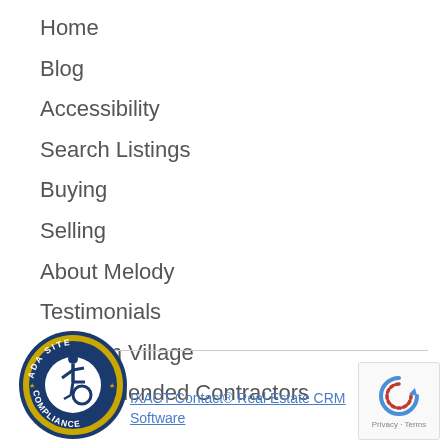Home
Blog
Accessibility
Search Listings
Buying
Selling
About Melody
Testimonials
Ashburn Village
Recommended Contractors
[Figure (logo): ADA Site Compliance badge - circular blue and gold badge with wheelchair accessibility icon]
IXACT Contact® Real Estate CRM Software